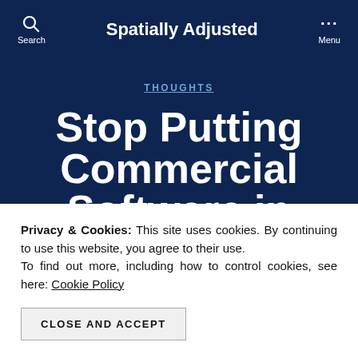Spatially Adjusted
THOUGHTS
Stop Putting Commercial Software in ESRIArcScripts
Privacy & Cookies: This site uses cookies. By continuing to use this website, you agree to their use. To find out more, including how to control cookies, see here: Cookie Policy
CLOSE AND ACCEPT